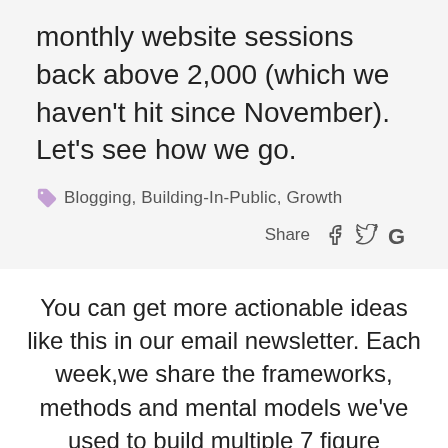monthly website sessions back above 2,000 (which we haven't hit since November). Let's see how we go.
Blogging, Building-In-Public, Growth
Share
You can get more actionable ideas like this in our email newsletter. Each week,we share the frameworks, methods and mental models we've used to build multiple 7 figure businesses.